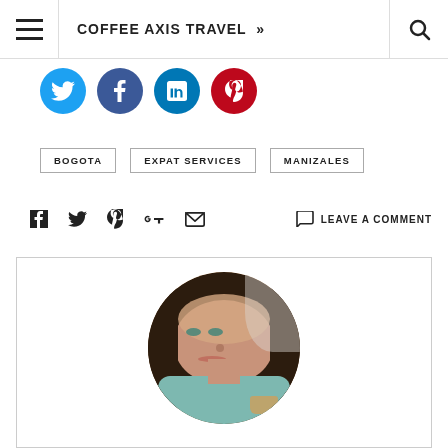COFFEE AXIS TRAVEL »
[Figure (illustration): Social media share icons: Twitter (blue circle), Facebook (blue circle), LinkedIn (blue circle), Pinterest (red circle)]
BOGOTA
EXPAT SERVICES
MANIZALES
[Figure (illustration): Share icons row: Facebook, Twitter, Pinterest, Google+, Email, and LEAVE A COMMENT link]
[Figure (photo): Circular author profile photo of a woman with long dark hair, wearing a light teal shirt, holding a coffee cup]